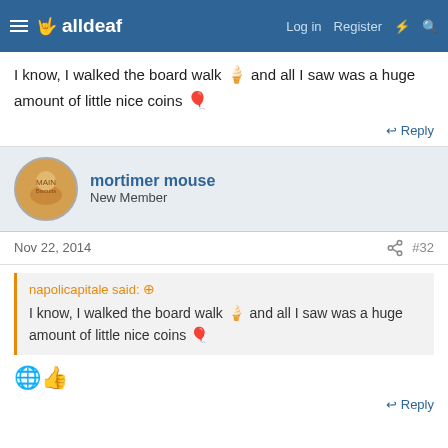alldeaf — Log in | Register
I know, I walked the board walk 🍦 and all I saw was a huge amount of little nice coins 🎈
↩ Reply
mortimer mouse — New Member
Nov 22, 2014  #32
napolicapitale said: I know, I walked the board walk 🍦 and all I saw was a huge amount of little nice coins 🎈
[Figure (illustration): Two reaction emoji: a face emoji and a thumbs up emoji]
↩ Reply